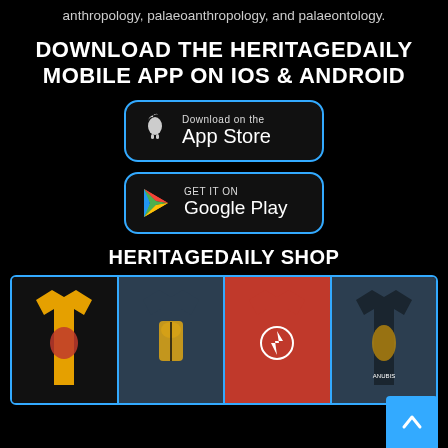anthropology, palaeoanthropology, and palaeontology.
DOWNLOAD THE HERITAGEDAILY MOBILE APP ON iOS & ANDROID
[Figure (other): App Store download badge with Apple logo]
[Figure (other): Google Play download badge with Play logo]
HERITAGEDAILY SHOP
[Figure (other): HertiageDaily shop showing four t-shirts: yellow with warrior, dark with pharaoh, red with spartan helmet, dark with Anubis]